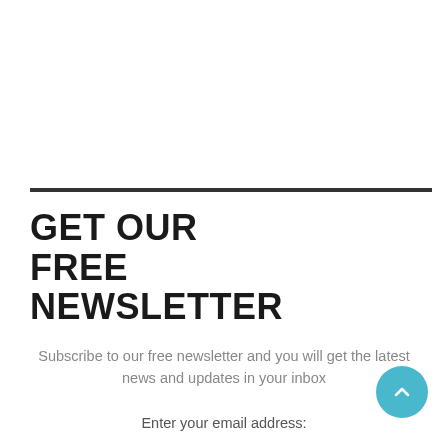GET OUR FREE NEWSLETTER
Subscribe to our free newsletter and you will get the latest news and updates in your inbox
Enter your email address: